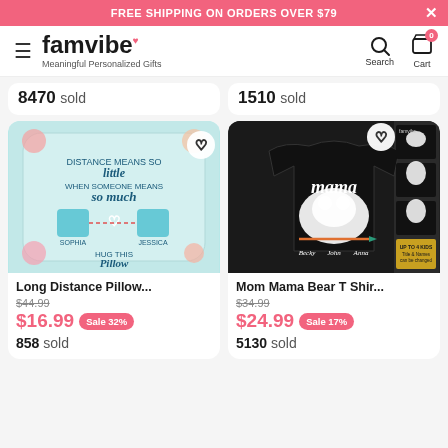FREE SHIPPING ON ORDERS OVER $79
[Figure (logo): Famvibe logo with heart, tagline: Meaningful Personalized Gifts, search and cart icons]
8470 sold
1510 sold
[Figure (photo): Long Distance Pillow with text 'Distance means so little when someone means so much' with two state maps connected]
Long Distance Pillow...
$44.99  $16.99  Sale 32%  858 sold
[Figure (photo): Mom Mama Bear T-Shirt black shirt with mama bear and cubs design]
Mom Mama Bear T Shir...
$34.99  $24.99  Sale 17%  5130 sold